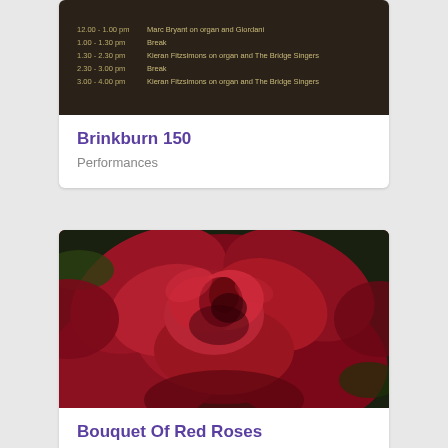[Figure (photo): Dark background schedule board showing performance times for Marc Bryant on organ and Giordani, Break, Kieran Fitzsimons on organ and The Bridge Singers at various times from 12:00 to 4:00 pm]
Brinkburn 150
Performances
[Figure (photo): Close-up photograph of a large deep red/crimson rose in full bloom]
Bouquet Of Red Roses
Performances